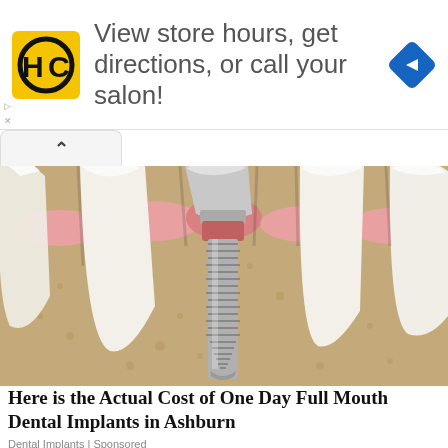[Figure (infographic): HC logo (yellow square with black H and C letters in a circle), advertisement banner with text 'View store hours, get directions, or call your salon!' and a blue diamond navigation arrow icon on the right]
[Figure (illustration): 3D medical illustration of dental implants showing a cross-section of the jaw bone with multiple teeth roots, one of which is a metallic screw implant (titanium post) surrounded by natural teeth roots embedded in beige jawbone tissue with pink gum tissue visible at the top]
Here is the Actual Cost of One Day Full Mouth Dental Implants in Ashburn
Dental Implants | Sponsored